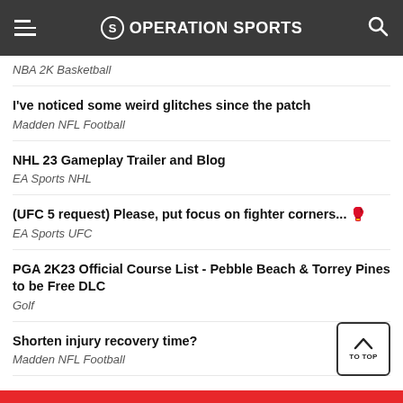Operation Sports
NBA 2K Basketball
I've noticed some weird glitches since the patch
Madden NFL Football
NHL 23 Gameplay Trailer and Blog
EA Sports NHL
(UFC 5 request) Please, put focus on fighter corners... 🥊
EA Sports UFC
PGA 2K23 Official Course List - Pebble Beach & Torrey Pines to be Free DLC
Golf
Shorten injury recovery time?
Madden NFL Football